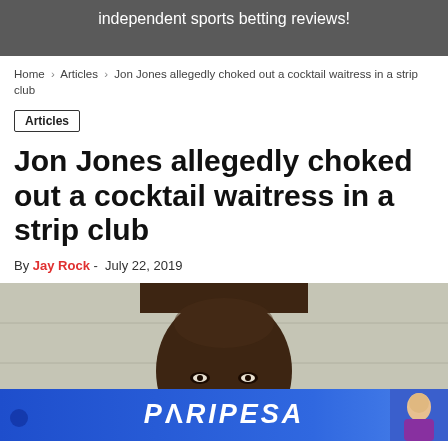independent sports betting reviews!
Home > Articles > Jon Jones allegedly choked out a cocktail waitress in a strip club
Articles
Jon Jones allegedly choked out a cocktail waitress in a strip club
By Jay Rock - July 22, 2019
[Figure (photo): Photo of a person, with a PARIPESA advertisement banner overlaid at the bottom]
PARIPESA